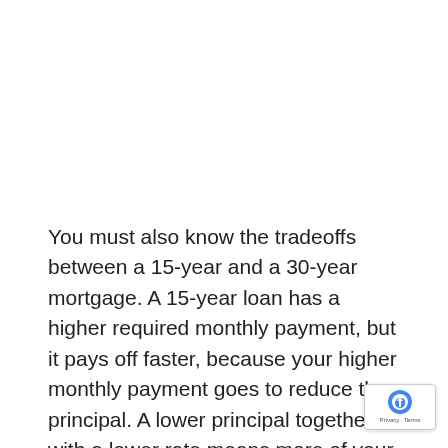You must also know the tradeoffs between a 15-year and a 30-year mortgage. A 15-year loan has a higher required monthly payment, but it pays off faster, because your higher monthly payment goes to reduce the principal. A lower principal together with a lower rate means more of your next payment goes to reduce the principal. The cycle goes on and on. Over the life of the loan, you pay a lot less interest over...